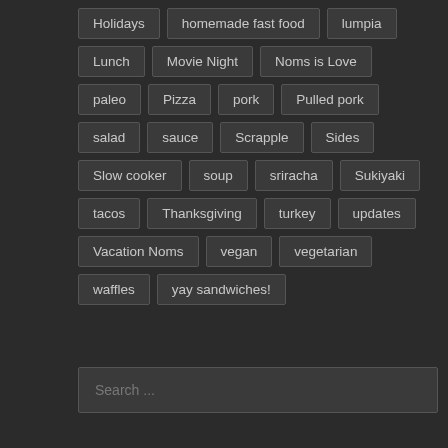Holidays
homemade fast food
lumpia
Lunch
Movie Night
Noms is Love
paleo
Pizza
pork
Pulled pork
salad
sauce
Scrapple
Sides
Slow cooker
soup
sriracha
Sukiyaki
tacos
Thanksgiving
turkey
updates
Vacation Noms
vegan
vegetarian
waffles
yay sandwiches!
Search ...